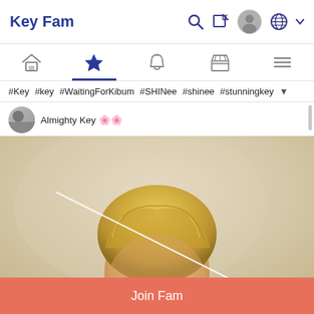Key Fam
[Figure (screenshot): Navigation bar with home, star (active), bell, store, and menu icons]
#Key #key #WaitingForKibum #SHINee #shinee #stunningkey ▼
Almighty Key 🌸🌸
[Figure (photo): Photo of a young man with blonde hair, eyes visible, light beige background, with a diagonal white line across the image]
Join Fam